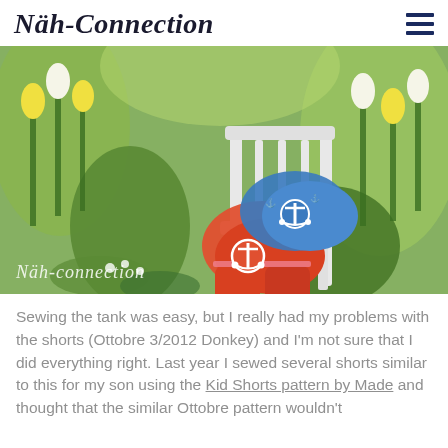Näh-Connection
[Figure (photo): A colourful children's tank top and shorts in orange and blue anchor print fabric, draped over a white wooden chair in a garden full of yellow and white tulips. A watermark reads 'Näh-connection' in the lower-left corner.]
Sewing the tank was easy, but I really had my problems with the shorts (Ottobre 3/2012 Donkey) and I'm not sure that I did everything right. Last year I sewed several shorts similar to this for my son using the Kid Shorts pattern by Made and thought that the similar Ottobre pattern wouldn't